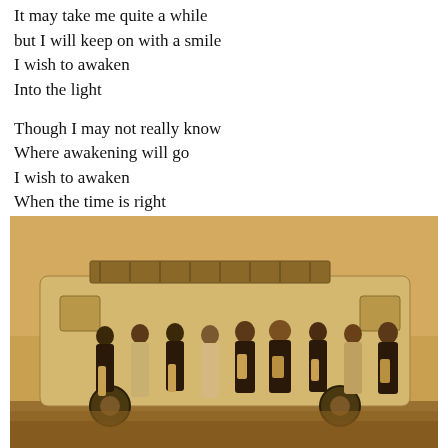It may take me quite a while
but I will keep on with a smile
I wish to awaken
Into the light

Though I may not really know
Where awakening will go
I wish to awaken
When the time is right
[Figure (photo): Sepia-toned photograph of a group of approximately nine people (men and women) standing in a row in front of a large van or truck with a cargo rack on top. The group is dressed in semi-formal attire including vests and long dresses. The photo has a warm golden-brown sepia tone.]